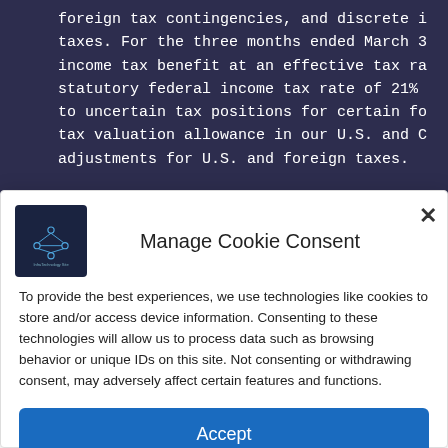foreign tax contingencies, and discrete items related to taxes. For the three months ended March 3 income tax benefit at an effective tax ra statutory federal income tax rate of 21% to uncertain tax positions for certain fo tax valuation allowance in our U.S. and C adjustments for U.S. and foreign taxes.
Manage Cookie Consent
To provide the best experiences, we use technologies like cookies to store and/or access device information. Consenting to these technologies will allow us to process data such as browsing behavior or unique IDs on this site. Not consenting or withdrawing consent, may adversely affect certain features and functions.
Accept